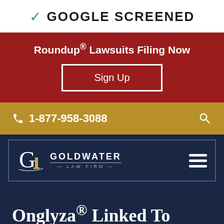[Figure (logo): Google Screened checkmark badge with green checkmark and bold text]
Roundup® Lawsuits Filing Now
Sign Up
1-877-958-3088
[Figure (logo): Goldwater Law Firm logo with G lettermark and decorative pillar on dark navy background]
Onglyza® Linked To Heart Failure